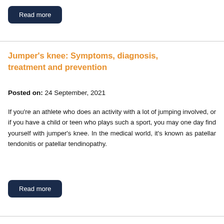[Figure (other): Dark navy blue rounded button with white text 'Read more']
Jumper's knee: Symptoms, diagnosis, treatment and prevention
Posted on: 24 September, 2021
If you're an athlete who does an activity with a lot of jumping involved, or if you have a child or teen who plays such a sport, you may one day find yourself with jumper's knee. In the medical world, it's known as patellar tendonitis or patellar tendinopathy.
[Figure (other): Dark navy blue rounded button with white text 'Read more']